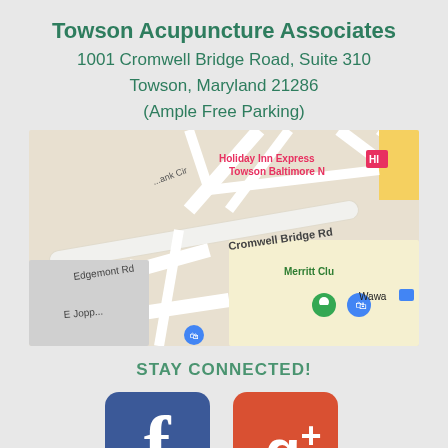Towson Acupuncture Associates
1001 Cromwell Bridge Road, Suite 310
Towson, Maryland 21286
(Ample Free Parking)
[Figure (map): Google Maps screenshot showing Cromwell Bridge Rd area in Towson, Baltimore with landmarks including Holiday Inn Express Towson Baltimore N, Wawa, Merritt Clu, and street names Edgemont Rd and E Joppa Rd]
STAY CONNECTED!
[Figure (infographic): Facebook and Google+ social media icons side by side]